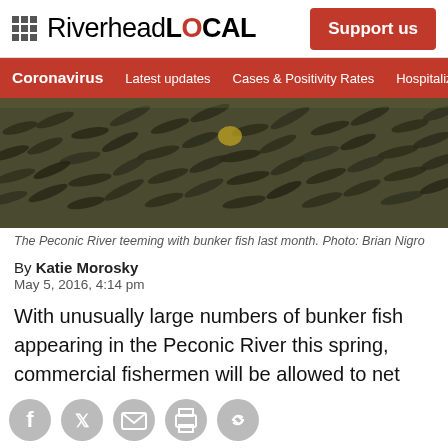RiverheadLOCAL | Support us
Coronavirus | Latest updates | Cases & Positivity Rates | Hospitalizations
[Figure (photo): Aerial/underwater view of the Peconic River teeming with bunker fish, showing a dense school of fish near the surface.]
The Peconic River teeming with bunker fish last month. Photo: Brian Nigro
By Katie Morosky
May 5, 2016, 4:14 pm
With unusually large numbers of bunker fish appearing in the Peconic River this spring, commercial fishermen will be allowed to net [them to] prevent the massive [fish kill of last] year, thanks to a ruling